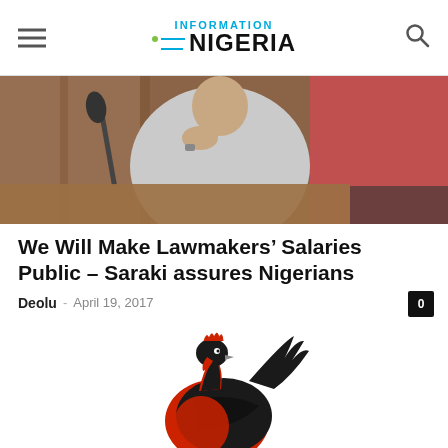INFORMATION NIGERIA
[Figure (photo): A man in traditional grey attire seated at a legislative chamber desk, resting his chin on his hand thoughtfully. Microphone visible in foreground, red chair in background.]
We Will Make Lawmakers’ Salaries Public – Saraki assures Nigerians
Deolu – April 19, 2017
[Figure (illustration): A stylized rooster illustration with a black body and red comb/wattle, standing on thin legs. This is the logo/mascot of the Labour Party of Nigeria.]